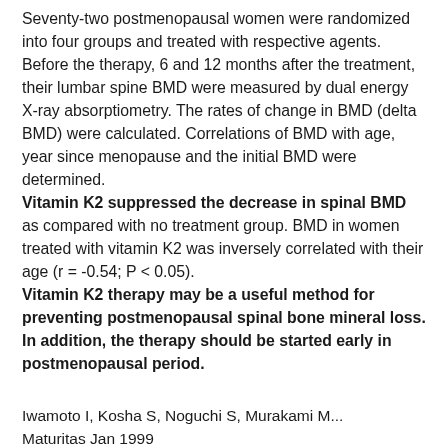Seventy-two postmenopausal women were randomized into four groups and treated with respective agents. Before the therapy, 6 and 12 months after the treatment, their lumbar spine BMD were measured by dual energy X-ray absorptiometry. The rates of change in BMD (delta BMD) were calculated. Correlations of BMD with age, year since menopause and the initial BMD were determined. Vitamin K2 suppressed the decrease in spinal BMD as compared with no treatment group. BMD in women treated with vitamin K2 was inversely correlated with their age (r = -0.54; P < 0.05). Vitamin K2 therapy may be a useful method for preventing postmenopausal spinal bone mineral loss. In addition, the therapy should be started early in postmenopausal period.
Iwamoto I, Kosha S, Noguchi S, Murakami M...
Maturitas Jan 1999
PMID: 10227010